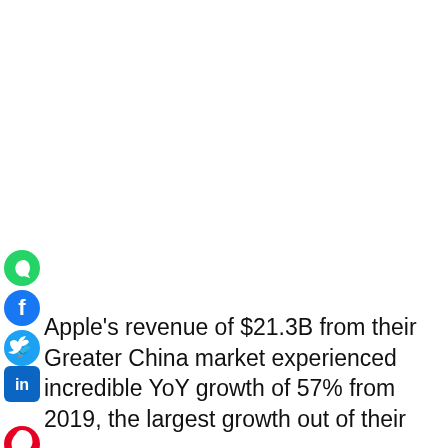[Figure (infographic): Vertical social share bar with icons: WhatsApp (teal), Facebook (blue), Twitter (blue bird), LinkedIn (blue), Pinterest (red), Reddit (orange/red), Email (red envelope), Print (blue printer)]
Apple's revenue of $21.3B from their Greater China market experienced incredible YoY growth of 57% from 2019, the largest growth out of their